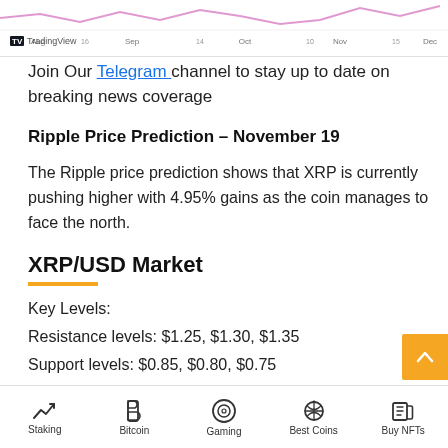[Figure (continuous-plot): TradingView chart strip showing XRP/USD price action with pink/purple line, axis labels Aug, Sep, Oct, Nov, Dec and date numbers]
Join Our Telegram channel to stay up to date on breaking news coverage
Ripple Price Prediction – November 19
The Ripple price prediction shows that XRP is currently pushing higher with 4.95% gains as the coin manages to face the north.
XRP/USD Market
Key Levels:
Resistance levels: $1.25, $1.30, $1.35
Support levels: $0.85, $0.80, $0.75
Staking | Bitcoin | Gaming | Best Coins | Buy NFTs